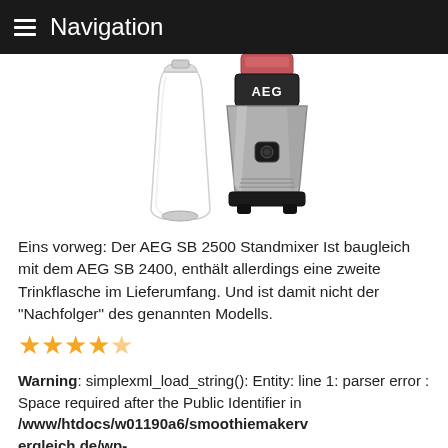Navigation
[Figure (photo): AEG SB 2500 blender/smoothie maker product photo showing a clear drinking bottle on the left and the silver/black blender base unit on the right with AEG branding on top]
Eins vorweg: Der AEG SB 2500 Standmixer Ist baugleich mit dem AEG SB 2400, enthält allerdings eine zweite Trinkflasche im Lieferumfang. Und ist damit nicht der "Nachfolger" des genannten Modells.
⭐⭐⭐⭐½
Warning: simplexml_load_string(): Entity: line 1: parser error : Space required after the Public Identifier in /www/htdocs/w01190a6/smoothiemakervergleich.de/wp-